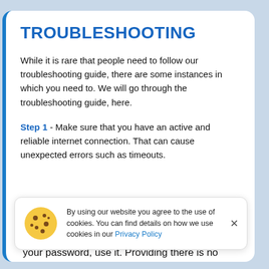TROUBLESHOOTING
While it is rare that people need to follow our troubleshooting guide, there are some instances in which you need to. We will go through the troubleshooting guide, here.
Step 1 - Make sure that you have an active and reliable internet connection. That can cause unexpected errors such as timeouts.
By using our website you agree to the use of cookies. You can find details on how we use cookies in our Privacy Policy
your password, use it. Providing there is no one that can not see your password around